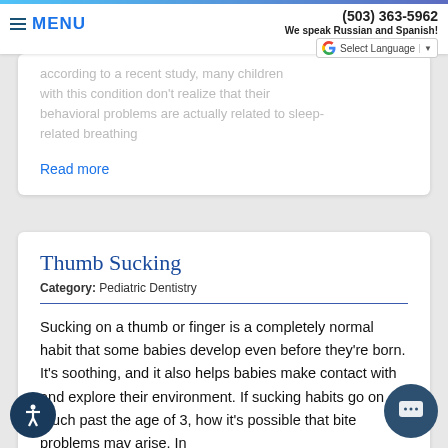MENU | (503) 363-5962 | We speak Russian and Spanish! | Select Language
according to a recent study, many children with this condition don't realize that their behavioral problems are actually related to sleep-related breathing
Read more
Thumb Sucking
Category: Pediatric Dentistry
Sucking on a thumb or finger is a completely normal habit that some babies develop even before they're born. It's soothing, and it also helps babies make contact with and explore their environment. If sucking habits go on much past the age of 3, how it's possible that bite problems may arise. In